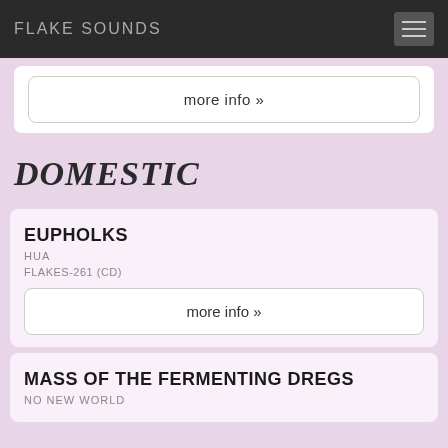FLAKE SOUNDS
more info »
DOMESTIC
EUPHOLKS
HUA
FLAKES-261 (CD)
more info »
MASS OF THE FERMENTING DREGS
NO NEW WORLD